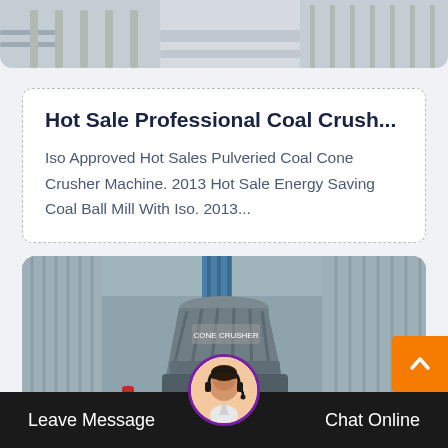[Figure (photo): Top portion of an industrial machine - partially cropped image showing grey metallic equipment parts against a light background]
Hot Sale Professional Coal Crush...
Iso Approved Hot Sales Pulveried Coal Cone Crusher Machine. 2013 Hot Sale Energy Saving Coal Ball Mill With Iso. 2013...
[Figure (photo): Industrial cone crusher machine photographed in a warehouse/factory setting. The crusher is a large grey metallic conical machine with ribbed surfaces, sitting on a base, inside an industrial building with corrugated metal walls.]
Leave Message
Chat Online